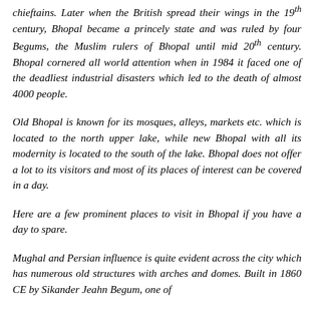chieftains. Later when the British spread their wings in the 19th century, Bhopal became a princely state and was ruled by four Begums, the Muslim rulers of Bhopal until mid 20th century. Bhopal cornered all world attention when in 1984 it faced one of the deadliest industrial disasters which led to the death of almost 4000 people.
Old Bhopal is known for its mosques, alleys, markets etc. which is located to the north upper lake, while new Bhopal with all its modernity is located to the south of the lake. Bhopal does not offer a lot to its visitors and most of its places of interest can be covered in a day.
Here are a few prominent places to visit in Bhopal if you have a day to spare.
Mughal and Persian influence is quite evident across the city which has numerous old structures with arches and domes. Built in 1860 CE by Sikander Jeahn Begum, one of